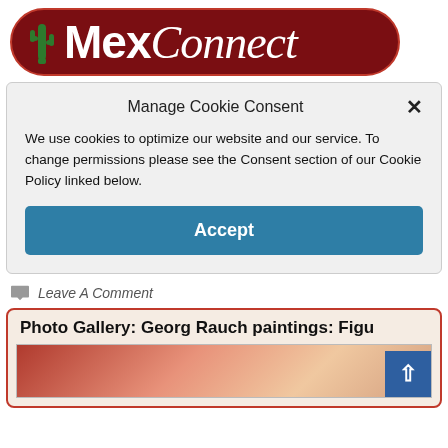[Figure (logo): MexConnect logo: dark red pill-shaped background with green cactus icon on the left, bold white 'Mex' text followed by italic white 'Connect' text]
Manage Cookie Consent
We use cookies to optimize our website and our service. To change permissions please see the Consent section of our Cookie Policy linked below.
Accept
Leave A Comment
Photo Gallery: Georg Rauch paintings: Figu
[Figure (photo): Partial view of a painting by Georg Rauch, reddish-brown tones visible at bottom]